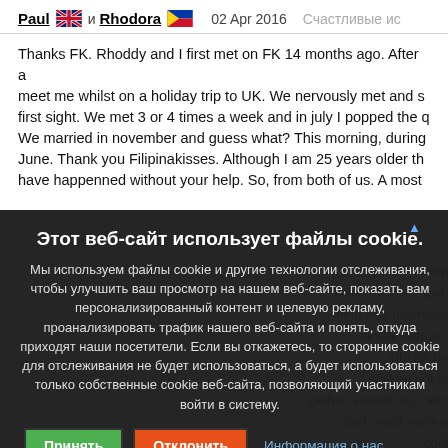Paul [UK flag] и Rhodora [PH flag]   02 Apr 2016   Счастливые ис...
Thanks FK. Rhoddy and I first met on FK 14 months ago. After a meet me whilst on a holiday trip to UK. We nervously met and s first sight. We met 3 or 4 times a week and in july I popped the d We married in november and guess what? This morning, during June. Thank you Filipinakisses. Although I am 25 years older th have happenned without your help. So, from both of us. A most
Этот веб-сайт использует файлы cookie.

Мы используем файлы cookie и другие технологии отслеживания, чтобы улучшить ваш просмотр на нашем веб-сайте, показать вам персонализированный контент и целевую рекламу, проанализировать трафик нашего веб-сайта и понять, откуда приходят наши посетители. Если вы откажетесь, то сторонние cookie для отслеживания не будет использоваться, а будет использоваться только собственные cookie веб-сайта, позволяющий участникам войти в систему.
Принять
Отклонить
Информация о нас